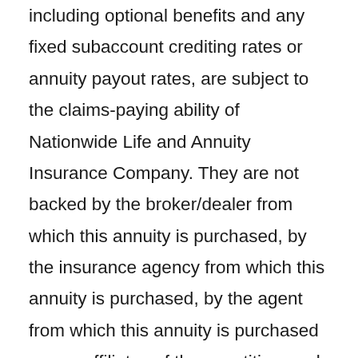including optional benefits and any fixed subaccount crediting rates or annuity payout rates, are subject to the claims-paying ability of Nationwide Life and Annuity Insurance Company. They are not backed by the broker/dealer from which this annuity is purchased, by the insurance agency from which this annuity is purchased, by the agent from which this annuity is purchased or any affiliates of those entities, and none makes any representations or guarantees regarding the claims-paying ability of the issuing insurance company.